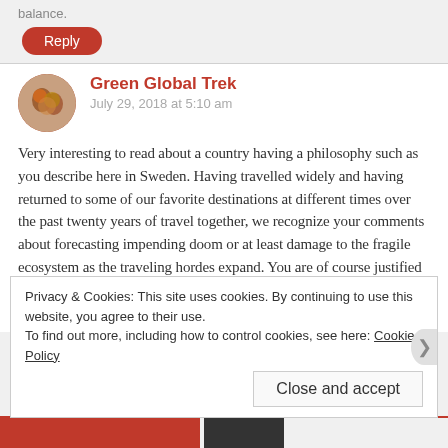balance.
Reply
Green Global Trek
July 29, 2018 at 5:10 am
Very interesting to read about a country having a philosophy such as you describe here in Sweden. Having travelled widely and having returned to some of our favorite destinations at different times over the past twenty years of travel together, we recognize your comments about forecasting impending doom or at least damage to the fragile ecosystem as the traveling hordes expand. You are of course justified in thinking that rising incomes and lower cost of travel means ever larger populations of camera toting and garbage throwing visitors.
Privacy & Cookies: This site uses cookies. By continuing to use this website, you agree to their use.
To find out more, including how to control cookies, see here: Cookie Policy
Close and accept